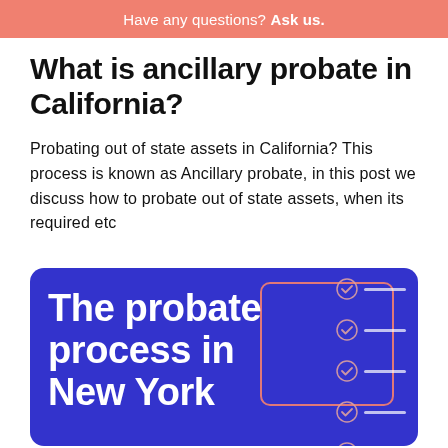Have any questions? Ask us.
What is ancillary probate in California?
Probating out of state assets in California? This process is known as Ancillary probate, in this post we discuss how to probate out of state assets, when its required etc
[Figure (infographic): Blue card with white bold text reading 'The probate process in New York', a pink/salmon rectangular border outline, and a checklist of checkmark icons with white lines on the right side]